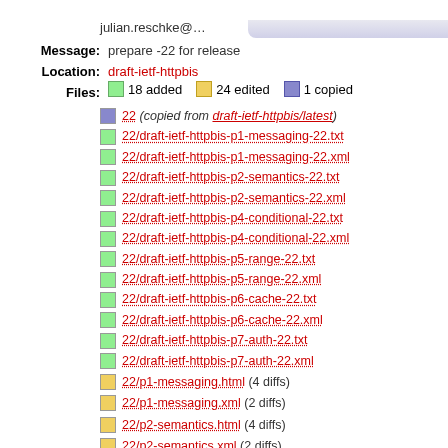julian.reschke@…
Message: prepare -22 for release
Location: draft-ietf-httpbis
Files: 18 added  24 edited  1 copied
22 (copied from draft-ietf-httpbis/latest)
22/draft-ietf-httpbis-p1-messaging-22.txt
22/draft-ietf-httpbis-p1-messaging-22.xml
22/draft-ietf-httpbis-p2-semantics-22.txt
22/draft-ietf-httpbis-p2-semantics-22.xml
22/draft-ietf-httpbis-p4-conditional-22.txt
22/draft-ietf-httpbis-p4-conditional-22.xml
22/draft-ietf-httpbis-p5-range-22.txt
22/draft-ietf-httpbis-p5-range-22.xml
22/draft-ietf-httpbis-p6-cache-22.txt
22/draft-ietf-httpbis-p6-cache-22.xml
22/draft-ietf-httpbis-p7-auth-22.txt
22/draft-ietf-httpbis-p7-auth-22.xml
22/p1-messaging.html (4 diffs)
22/p1-messaging.xml (2 diffs)
22/p2-semantics.html (4 diffs)
22/p2-semantics.xml (2 diffs)
22/p4-conditional.html (4 diffs)
22/p4-conditional.xml (2 diffs)